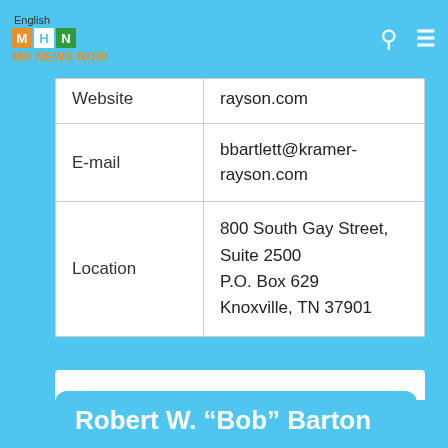MH News Now (English) — navigation bar
| Field | Value |
| --- | --- |
| Website | rayson.com |
| E-mail | bbartlett@kramer-rayson.com |
| Location | 800 South Gay Street, Suite 2500
P.O. Box 629
Knoxville, TN 37901 |
Robert W. “Bob” Barton